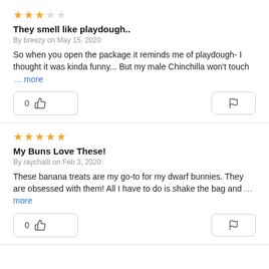★★★☆☆
They smell like playdough..
By breezy on May 15, 2020
So when you open the package it reminds me of playdough- I thought it was kinda funny... But my male Chinchilla won't touch … more
0 👍 [flag]
★★★★★
My Buns Love These!
By raychallt on Feb 3, 2020
These banana treats are my go-to for my dwarf bunnies. They are obsessed with them! All I have to do is shake the bag and … more
0 👍 [flag]